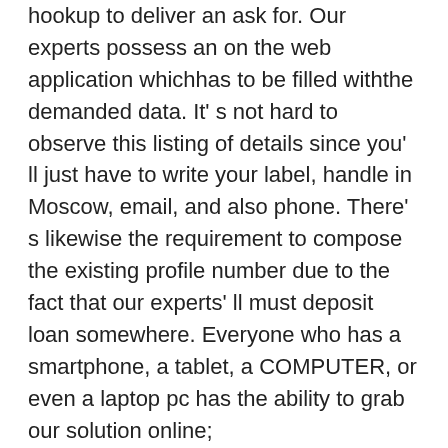hookup to deliver an ask for. Our experts possess an on the web application whichhas to be filled withthe demanded data. It's not hard to observe this listing of details since you'll just have to write your label, handle in Moscow, email, and also phone. There's likewise the requirement to compose the existing profile number due to the fact that our experts'll must deposit loan somewhere. Everyone who has a smartphone, a tablet, a COMPUTER, or even a laptop pc has the ability to grab our solution online;
less than 3 minutes is required to cope withthe form. In the event you need to have cashquickly, our web site is actually definitely for you due to the fact that everything is actually done promptly here. You succeeded't must invest the entire day at the finance company's workplace while packing a stack of forms. fig loan near me gives you a possibility to conserve your time and devote it on your individual organization;
the same day approval. Possess you heard that? It